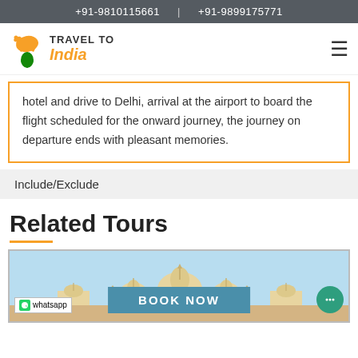+91-9810115661  |  +91-9899175771
[Figure (logo): Travel To India logo with orange map icon and green teardrop]
hotel and drive to Delhi, arrival at the airport to board the flight scheduled for the onward journey, the journey on departure ends with pleasant memories.
Include/Exclude
Related Tours
[Figure (photo): Photo of an ornate Indian palace/monument with domes and arches, light-colored stone, against a blue sky. A 'BOOK NOW' button overlay is shown in teal/blue, and a WhatsApp icon is in the bottom left, with a chat circle icon in the bottom right.]